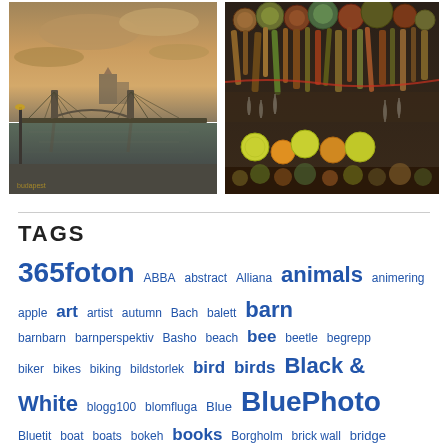[Figure (photo): Two side-by-side photos: left shows a bridge at sunset/dusk over a river; right shows a colorful market stall with decorative wooden items and hanging goods.]
TAGS
365foton ABBA abstract Alliana animals animering apple art artist autumn Bach balett barn barnbarn barnperspektiv Basho beach bee beetle begrepp biker bikes biking bildstorlek bird birds Black & White blogg100 blomfluga Blue BluePhoto Bluetit boat boats bokeh books Borgholm brick wall bridge BRpoetry Buda Castle Budapest budskap building...